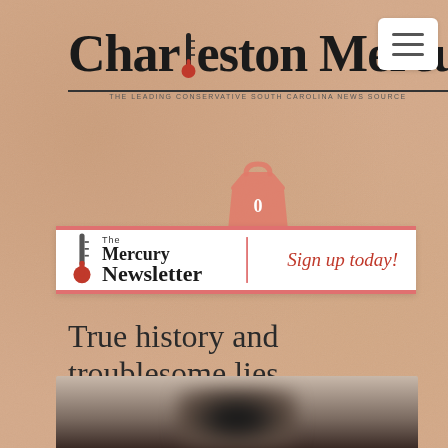[Figure (logo): Charleston Mercury newspaper masthead logo with large serif bold text and thermometer icon replacing the 'l' in Charleston]
[Figure (illustration): Red shopping bag icon with the number 0 on it, indicating cart is empty]
[Figure (illustration): The Mercury Newsletter banner advertisement with thermometer graphic and 'Sign up today!' in cursive red text]
True history and troublesome lies
[Figure (photo): Partially visible blurred photo at bottom of page, appears to show a dark silhouette of a person]